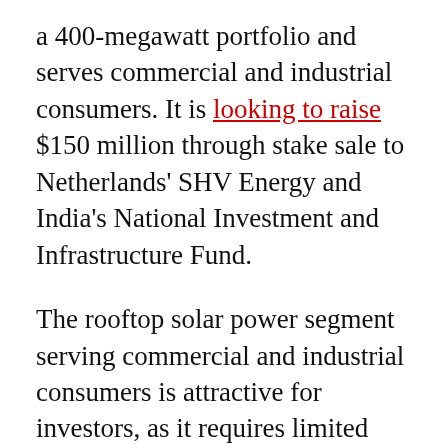a 400-megawatt portfolio and serves commercial and industrial consumers. It is looking to raise $150 million through stake sale to Netherlands' SHV Energy and India's National Investment and Infrastructure Fund.
The rooftop solar power segment serving commercial and industrial consumers is attractive for investors, as it requires limited interaction with distribution utilities. As covered in recent articles, many distribution companies have refused to sign power purchase agreements with the companies that won project development rights fair and square in competitive auctions. For commercial and industrial consumers, the falling cost of solar power has become attractive compared to the price of power sourced from distribution utilities.